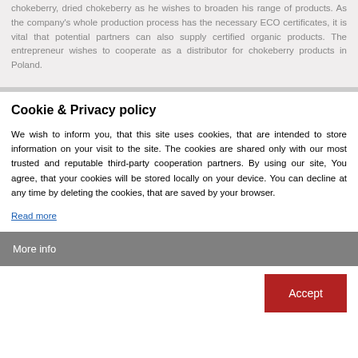chokeberry, dried chokeberry as he wishes to broaden his range of products. As the company's whole production process has the necessary ECO certificates, it is vital that potential partners can also supply certified organic products. The entrepreneur wishes to cooperate as a distributor for chokeberry products in Poland.
Cookie & Privacy policy
We wish to inform you, that this site uses cookies, that are intended to store information on your visit to the site. The cookies are shared only with our most trusted and reputable third-party cooperation partners. By using our site, You agree, that your cookies will be stored locally on your device. You can decline at any time by deleting the cookies, that are saved by your browser.
Read more
More info
Accept